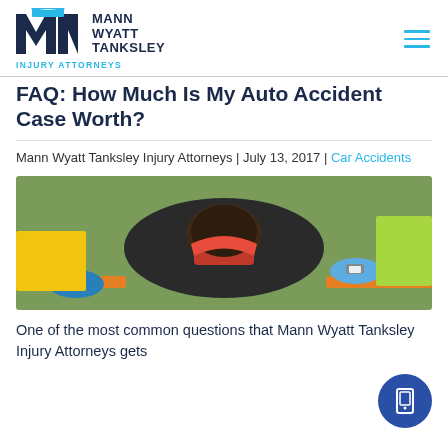Mann Wyatt Tanksley Injury Attorneys — logo and navigation
FAQ: How Much Is My Auto Accident Case Worth?
Mann Wyatt Tanksley Injury Attorneys | July 13, 2017 | Car Accidents
[Figure (photo): Emergency responders in high-visibility vests and blue gloves attending to an injured person in a neck brace on a stretcher]
One of the most common questions that Mann Wyatt Tanksley Injury Attorneys gets